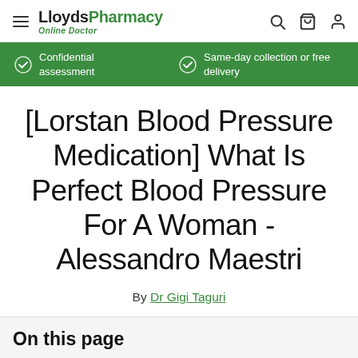LloydsPharmacy Online Doctor — Navigation bar with hamburger menu, logo, search, cart, and user icons
Confidential assessment | Same-day collection or free delivery
[Lorstan Blood Pressure Medication] What Is Perfect Blood Pressure For A Woman - Alessandro Maestri
By Dr Gigi Taguri
On this page